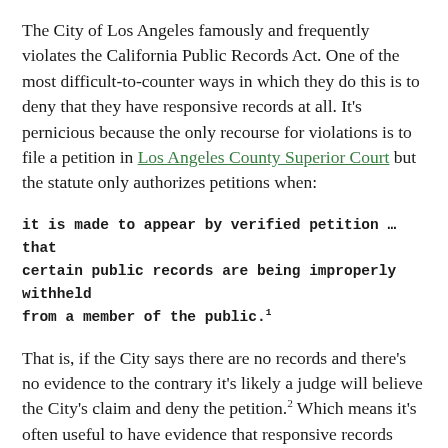The City of Los Angeles famously and frequently violates the California Public Records Act. One of the most difficult-to-counter ways in which they do this is to deny that they have responsive records at all. It's pernicious because the only recourse for violations is to file a petition in Los Angeles County Superior Court but the statute only authorizes petitions when:
it is made to appear by verified petition … that certain public records are being improperly withheld from a member of the public.1
That is, if the City says there are no records and there's no evidence to the contrary it's likely a judge will believe the City's claim and deny the petition.2 Which means it's often useful to have evidence that responsive records exist even before requesting them. It's also really important to duplicate requests to as many City departments as may have copies, since they all have different search methods.3